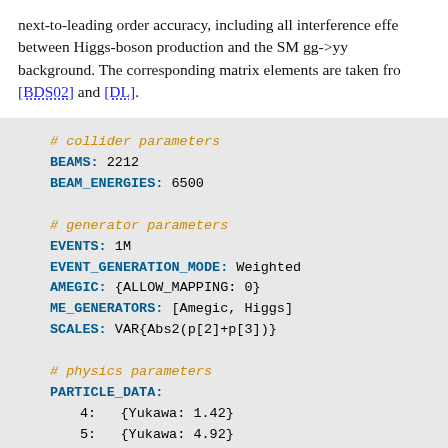next-to-leading order accuracy, including all interference effects between Higgs-boson production and the SM gg->yy background. The corresponding matrix elements are taken from [BDS02] and [DL].
# collider parameters
BEAMS: 2212
BEAM_ENERGIES: 6500

# generator parameters
EVENTS: 1M
EVENT_GENERATION_MODE: Weighted
AMEGIC: {ALLOW_MAPPING: 0}
ME_GENERATORS: [Amegic, Higgs]
SCALES: VAR{Abs2(p[2]+p[3])}

# physics parameters
PARTICLE_DATA:
  4:  {Yukawa: 1.42}
  5:  {Yukawa: 4.92}
  15: {Yukawa: 1.777}
EW_SCHEME: 3